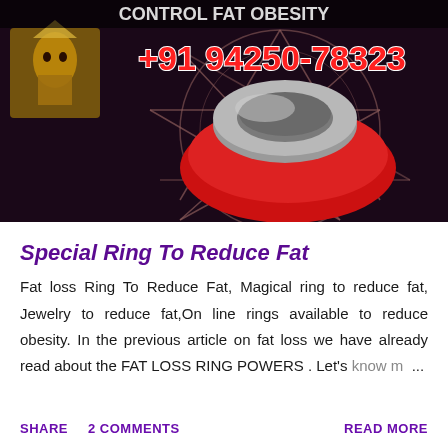[Figure (photo): Dark background image showing a silver/grey ring on a red circular cushion, with a star/pentagon pattern in orange/red behind it. A small golden idol thumbnail appears in the top-left corner. Red text overlay reads '+91 94250-78323' and partial white text 'CONTROL FAT OBESITY' at the top.]
Special Ring To Reduce Fat
Fat loss Ring To Reduce Fat, Magical ring to reduce fat, Jewelry to reduce fat,On line rings available to reduce obesity. In the previous article on fat loss we have already read about the FAT LOSS RING POWERS . Let's know m... ...
SHARE   2 COMMENTS   READ MORE